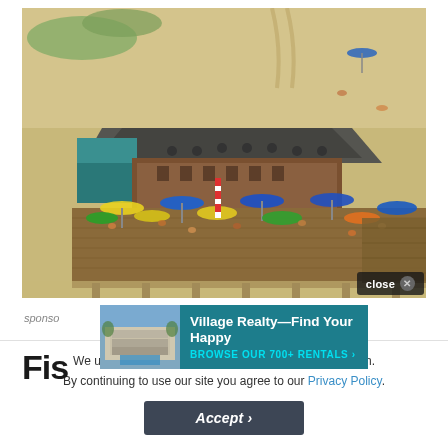[Figure (photo): Aerial view of a beach restaurant/bar on a wooden deck/pier with colorful umbrellas (blue, yellow, green) over outdoor seating. Sandy beach surrounds the structure. Many patrons visible.]
close ✕
[Figure (photo): Thumbnail photo of a multi-story beach rental property with a pool, shown in the Village Realty advertisement.]
Village Realty—Find Your Happy BROWSE OUR 700+ RENTALS ›
sponsored
Fis
We use cookies for measurement, ads, and optimization. By continuing to use our site you agree to our Privacy Policy.
Accept ›